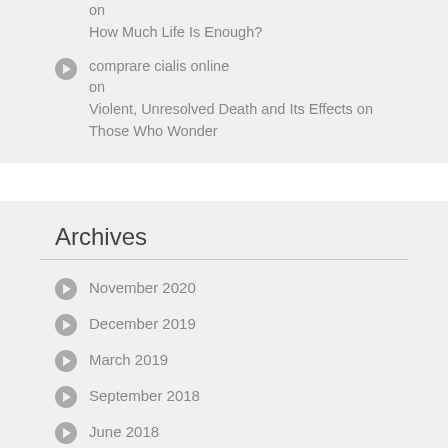on How Much Life Is Enough?
comprare cialis online on Violent, Unresolved Death and Its Effects on Those Who Wonder
Archives
November 2020
December 2019
March 2019
September 2018
June 2018